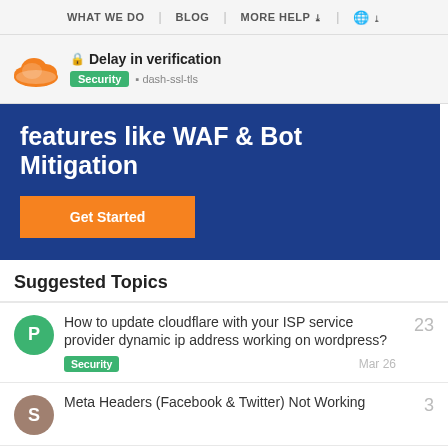WHAT WE DO | BLOG | MORE HELP ∨ | 🌐 ∨
[Figure (screenshot): Cloudflare orange cloud logo with header showing 'Delay in verification', Security tag, and dash-ssl-tls tag]
features like WAF & Bot Mitigation
Get Started
Suggested Topics
How to update cloudflare with your ISP service provider dynamic ip address working on wordpress?
Security  Mar 26  23
Meta Headers (Facebook & Twitter) Not Working